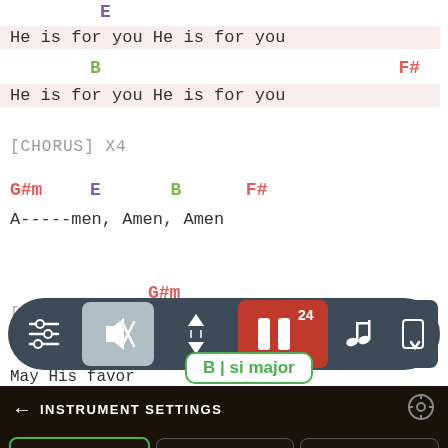E
He is for you He is for you
B                              F#
He is for you He is for you
[CHORUS] X4
G#m    E       B       F#
A-----men, Amen, Amen
[B
G#m
May His favor
[Figure (screenshot): Music app toolbar with controls: settings, mute (active), transpose up/down, pause with count 24, music note, and layout buttons]
B | si major
← INSTRUMENT SETTINGS
GUITAR  PIANO  UKULELE
i  Video is muted. UNMUTE  ×
F#/A#